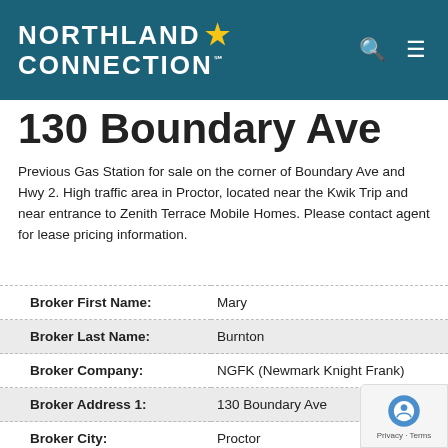NORTHLAND CONNECTION
130 Boundary Ave
Previous Gas Station for sale on the corner of Boundary Ave and Hwy 2. High traffic area in Proctor, located near the Kwik Trip and near entrance to Zenith Terrace Mobile Homes. Please contact agent for lease pricing information.
| Field | Value |
| --- | --- |
| Broker First Name: | Mary |
| Broker Last Name: | Burnton |
| Broker Company: | NGFK (Newmark Knight Frank) |
| Broker Address 1: | 130 Boundary Ave |
| Broker City: | Proctor |